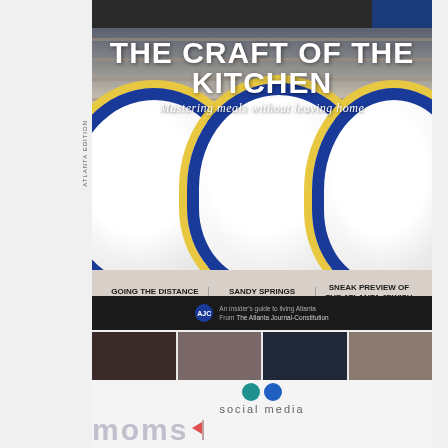[Figure (photo): Magazine cover: 'The Craft of the Kitchen — Mastering meals without leaving home'. Shows three blue-rimmed yellow-banded white ceramic mugs on a shelf. Bottom teaser bar with three sections: Going the Distance at Decatur Boxing Club, Sandy Springs Suburb steps into cityhood, Sneak Preview of the Atlanta Jewish Film Fest. AJC branding at bottom.]
THE CRAFT OF THE KITCHEN
Mastering meals without leaving home
GOING THE DISTANCE at Decatur Boxing Club
SANDY SPRINGS Suburb steps into cityhood
SNEAK PREVIEW OF THE ATLANTA JEWISH FILM FEST
[Figure (photo): Grid of four photos in two rows showing various people/events, below the magazine cover. Partially visible social media moms branding at bottom.]
social media
moms